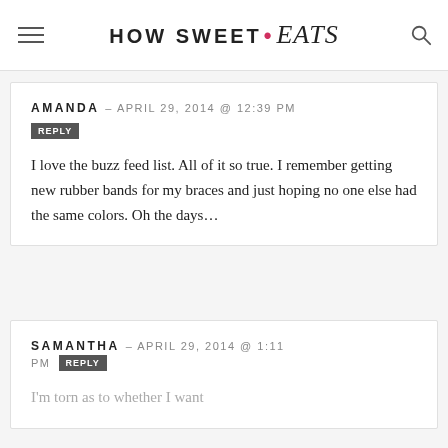HOW SWEET • eats
AMANDA – APRIL 29, 2014 @ 12:39 PM
REPLY
I love the buzz feed list. All of it so true. I remember getting new rubber bands for my braces and just hoping no one else had the same colors. Oh the days…
SAMANTHA – APRIL 29, 2014 @ 1:11 PM
REPLY
I'm torn as to whether I want